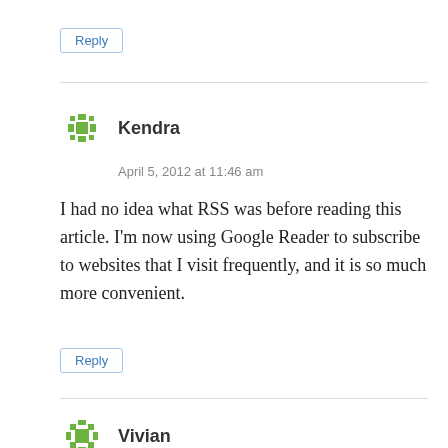Reply
Kendra
April 5, 2012 at 11:46 am
I had no idea what RSS was before reading this article. I'm now using Google Reader to subscribe to websites that I visit frequently, and it is so much more convenient.
Reply
Vivian